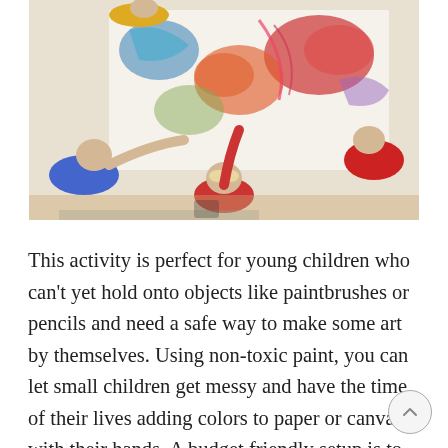[Figure (photo): Overhead view of young children sitting around a table doing finger painting and drawing on large sheets of white paper, using colorful paints and markers. Children wearing blue, red, and yellow clothing.]
This activity is perfect for young children who can't yet hold onto objects like paintbrushes or pencils and need a safe way to make some art by themselves. Using non-toxic paint, you can let small children get messy and have the time of their lives adding colors to paper or canvas with their hands. A budget friendly setup is to get some long and wide paper, lay it out on a tarp, perhaps on the backyard